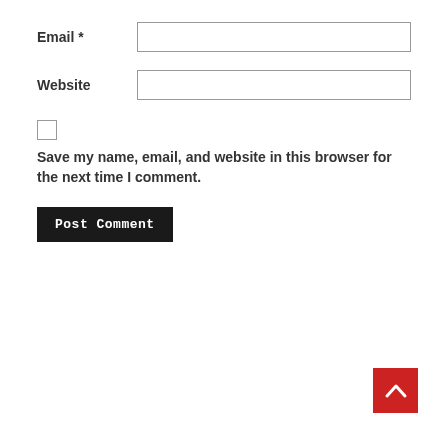Email *
Website
Save my name, email, and website in this browser for the next time I comment.
Post Comment
[Figure (other): Red back-to-top button with white upward chevron arrow in bottom right corner]